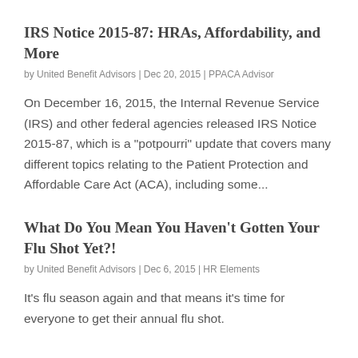IRS Notice 2015-87: HRAs, Affordability, and More
by United Benefit Advisors | Dec 20, 2015 | PPACA Advisor
On December 16, 2015, the Internal Revenue Service (IRS) and other federal agencies released IRS Notice 2015-87, which is a "potpourri" update that covers many different topics relating to the Patient Protection and Affordable Care Act (ACA), including some...
What Do You Mean You Haven't Gotten Your Flu Shot Yet?!
by United Benefit Advisors | Dec 6, 2015 | HR Elements
It's flu season again and that means it's time for everyone to get their annual flu shot.